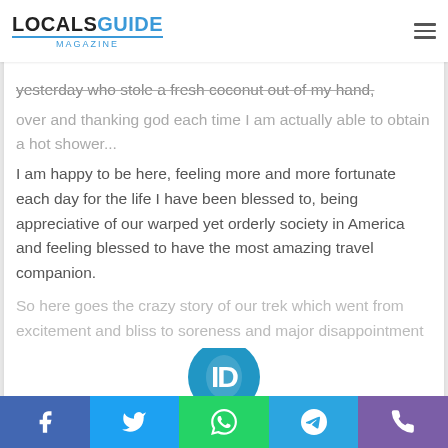LOCALS GUIDE magazine
yesterday who stole a fresh coconut out of my hand, over and thanking god each time I am actually able to obtain a hot shower... I am happy to be here, feeling more and more fortunate each day for the life I have been blessed to, being appreciative of our warped yet orderly society in America and feeling blessed to have the most amazing travel companion.
So here goes the crazy story of our trek which went from excitement and bliss to soreness and major disappointment
[Figure (other): Show More button with chevron]
[Figure (logo): Locals Guide Magazine circular logo icon]
[Figure (other): Social share bar with Facebook, Twitter, WhatsApp, Telegram, Phone icons]